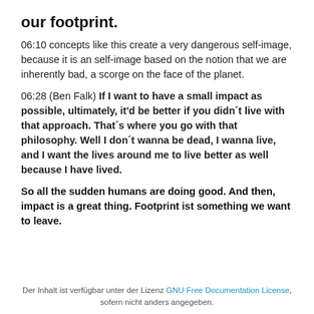our footprint.
06:10 concepts like this create a very dangerous self-image, because it is an self-image based on the notion that we are inherently bad, a scorge on the face of the planet.
06:28 (Ben Falk) If I want to have a small impact as possible, ultimately, it'd be better if you didn´t live with that approach. That´s where you go with that philosophy. Well I don´t wanna be dead, I wanna live, and I want the lives around me to live better as well because I have lived.
So all the sudden humans are doing good. And then, impact is a great thing. Footprint ist something we want to leave.
Der Inhalt ist verfügbar unter der Lizenz GNU Free Documentation License, sofern nicht anders angegeben.